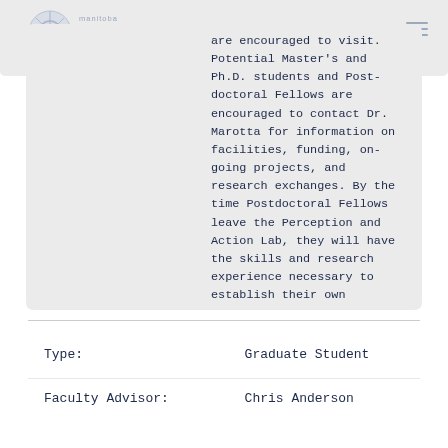[Figure (logo): Manitoba Neuroscience Network logo with circular brain graphic and text]
are encouraged to visit. Potential Master's and Ph.D. students and Post-doctoral Fellows are encouraged to contact Dr. Marotta for information on facilities, funding, on-going projects, and research exchanges. By the time Postdoctoral Fellows leave the Perception and Action Lab, they will have the skills and research experience necessary to establish their own cutting-edge cognitive neuroscience laboratories fostering sophisticated, multidisciplinary approaches to investigations of visual perception and visuomotor control.
| Type: | Graduate Student |
| Faculty Advisor: | Chris Anderson |